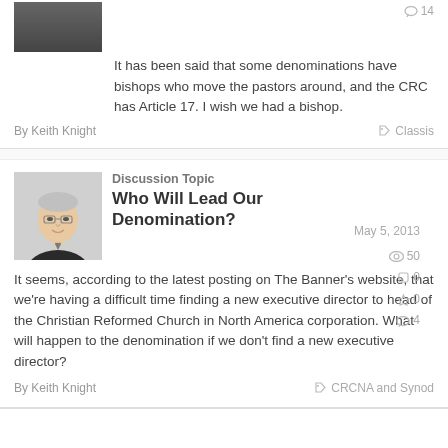It has been said that some denominations have bishops who move the pastors around, and the CRC has Article 17. I wish we had a bishop.
By Keith Knight
Classis
Discussion Topic
May 5, 2013
Who Will Lead Our Denomination?
It seems, according to the latest posting on The Banner's website, that we're having a difficult time finding a new executive director to head of the Christian Reformed Church in North America corporation. What will happen to the denomination if we don't find a new executive director?
By Keith Knight
CRCNA and Synod